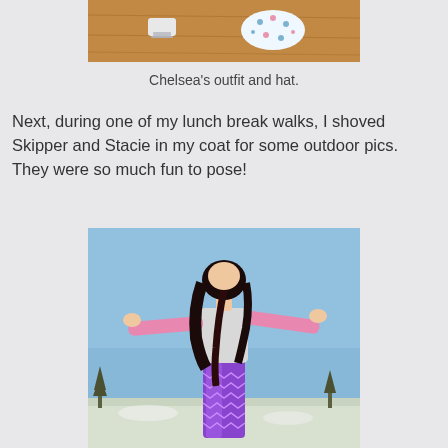[Figure (photo): Top portion of a photo showing doll accessories including ice skates and a floral skirt/hat on a wooden surface]
Chelsea's outfit and hat.
Next, during one of my lunch break walks, I shoved Skipper and Stacie in my coat for some outdoor pics. They were so much fun to pose!
[Figure (photo): Photo of a Barbie/Skipper doll with dark hair, wearing a pink long-sleeve top and purple patterned leggings, posed with arms outstretched against a blue winter sky with snowy landscape in background]